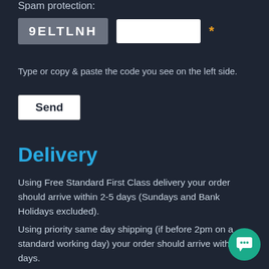Spam protection:
9ELTLNH  [input field]  *
Type or copy & paste the code you see on the left side.
Send
Delivery
Using Free Standard First Class delivery your order should arrive within 2-5 days (Sundays and Bank Holidays excluded).
Using priority same day shipping (if before 2pm on a standard working day) your order should arrive within 3 days.